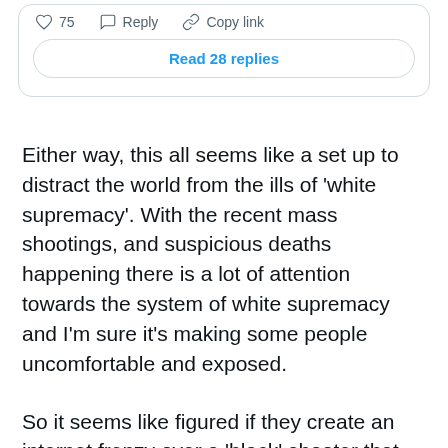[Figure (screenshot): Social media post action bar showing heart icon with 75 likes, Reply button, and Copy link button]
Read 28 replies
Either way, this all seems like a set up to distract the world from the ills of ‘white supremacy’. With the recent mass shootings, and suspicious deaths happening there is a lot of attention towards the system of white supremacy and I’m sure it’s making some people uncomfortable and exposed.
So it seems like figured if they create an internet frenzy over a ‘black’ shooter that would make ‘public shootings’ appear like a ‘human’ problem and not a white supremacy problem.